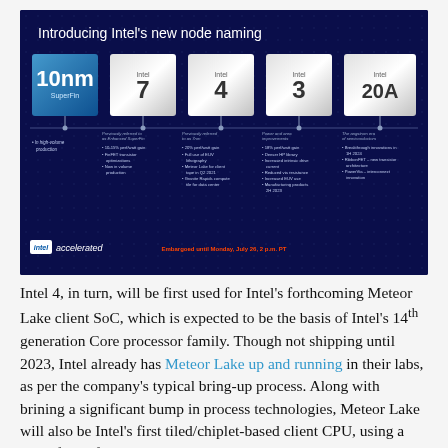[Figure (infographic): Intel slide titled 'Introducing Intel's new node naming' showing five technology nodes in a row: 10nm SuperFin (blue box), Intel 7, Intel 4, Intel 3, Intel 20A (silver/white boxes), each with bullet points describing key features below a horizontal divider. Bottom shows Intel accelerated logo and embargo notice in red: 'Embargoed until Monday, July 26, 2 p.m. PT']
Intel 4, in turn, will be first used for Intel's forthcoming Meteor Lake client SoC, which is expected to be the basis of Intel's 14th generation Core processor family. Though not shipping until 2023, Intel already has Meteor Lake up and running in their labs, as per the company's typical bring-up process. Along with brining a significant bump in process technologies, Meteor Lake will also be Intel's first tiled/chiplet-based client CPU, using a mix of tiles for